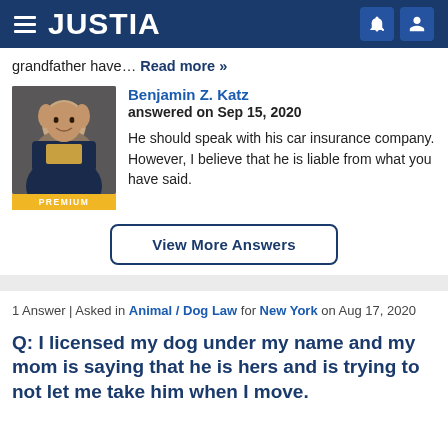JUSTIA
grandfather have... Read more »
Benjamin Z. Katz
answered on Sep 15, 2020

He should speak with his car insurance company. However, I believe that he is liable from what you have said.
View More Answers
1 Answer | Asked in Animal / Dog Law for New York on Aug 17, 2020
Q: I licensed my dog under my name and my mom is saying that he is hers and is trying to not let me take him when I move.